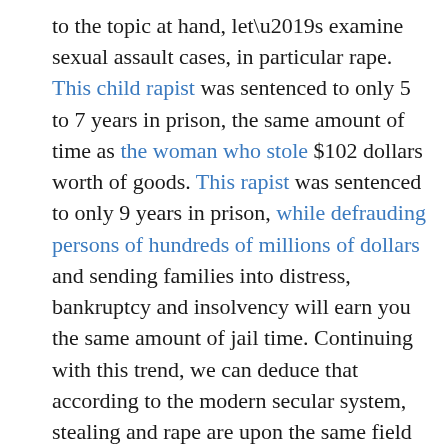to the topic at hand, let's examine sexual assault cases, in particular rape. This child rapist was sentenced to only 5 to 7 years in prison, the same amount of time as the woman who stole $102 dollars worth of goods. This rapist was sentenced to only 9 years in prison, while defrauding persons of hundreds of millions of dollars and sending families into distress, bankruptcy and insolvency will earn you the same amount of jail time. Continuing with this trend, we can deduce that according to the modern secular system, stealing and rape are upon the same field of justice. Considering these tragic acts, let's examine the Islamic position on rape in the modern world. To rape in Islamic law is to have committed “ightisaab”, which means to forcefully transgress and take a woman’s honour from her (rape). The crime is punishable by death but doesn’t have to be punished by death, the punishment however